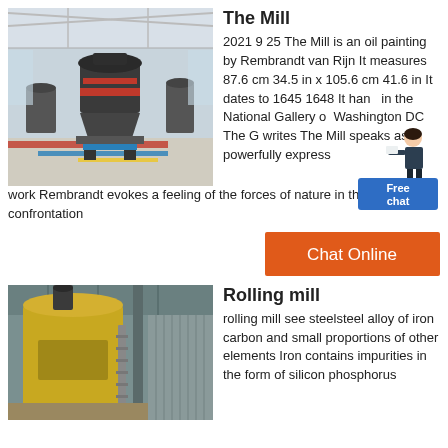[Figure (photo): Industrial mill machine inside a large warehouse facility, showing a large cone crusher or similar milling equipment on a platform with red and blue painted floor markings.]
The Mill
2021 9 25 The Mill is an oil painting by Rembrandt van Rijn It measures 87.6 cm 34.5 in x 105.6 cm 41.6 in It dates to 1645 1648 It hangs in the National Gallery of Washington DC The G writes The Mill speaks as a powerfully expressive work Rembrandt evokes a feeling of the forces of nature in the dramatic confrontation
[Figure (other): Free chat widget showing a woman figure and a blue button labeled Free chat]
[Figure (other): Orange Chat Online button]
[Figure (photo): Rolling mill industrial equipment inside a large industrial building, showing yellow cylindrical machinery and structural beams.]
Rolling mill
rolling mill see steelsteel alloy of iron carbon and small proportions of other elements Iron contains impurities in the form of silicon phosphorus